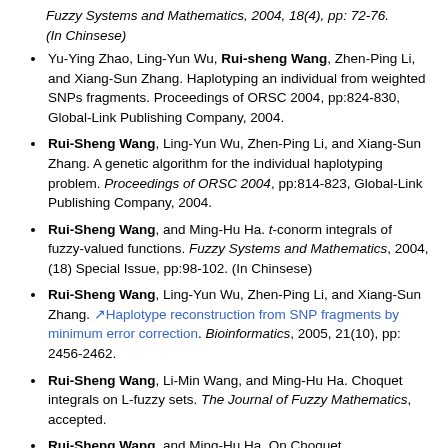Fuzzy Systems and Mathematics, 2004, 18(4), pp: 72-76. (In Chinsese)
Yu-Ying Zhao, Ling-Yun Wu, Rui-sheng Wang, Zhen-Ping Li, and Xiang-Sun Zhang. Haplotyping an individual from weighted SNPs fragments. Proceedings of ORSC 2004, pp:824-830, Global-Link Publishing Company, 2004.
Rui-Sheng Wang, Ling-Yun Wu, Zhen-Ping Li, and Xiang-Sun Zhang. A genetic algorithm for the individual haplotyping problem. Proceedings of ORSC 2004, pp:814-823, Global-Link Publishing Company, 2004.
Rui-Sheng Wang, and Ming-Hu Ha. t-conorm integrals of fuzzy-valued functions. Fuzzy Systems and Mathematics, 2004, (18) Special Issue, pp:98-102. (In Chinsese)
Rui-Sheng Wang, Ling-Yun Wu, Zhen-Ping Li, and Xiang-Sun Zhang. Haplotype reconstruction from SNP fragments by minimum error correction. Bioinformatics, 2005, 21(10), pp: 2456-2462.
Rui-Sheng Wang, Li-Min Wang, and Ming-Hu Ha. Choquet integrals on L-fuzzy sets. The Journal of Fuzzy Mathematics, accepted.
Rui-Sheng Wang, and Ming-Hu Ha. On Choquet